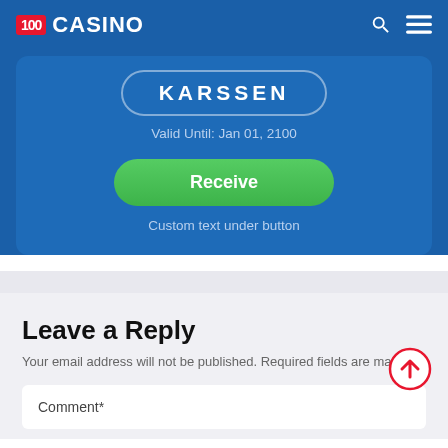[Figure (screenshot): 100 Casino navigation bar with logo (red badge with '100' and white 'CASINO' text), search icon, and hamburger menu icon on dark blue background]
[Figure (screenshot): Blue promotional card showing coupon code 'KARSSEN', validity 'Valid Until: Jan 01, 2100', green 'Receive' button, and 'Custom text under button' text]
Leave a Reply
Your email address will not be published. Required fields are marked *
Comment*